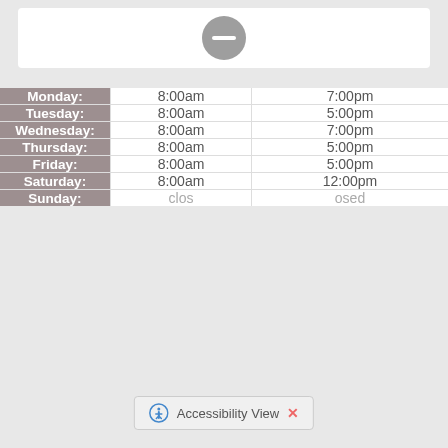[Figure (other): A circular icon with a prohibition/no symbol on a white card background]
| Day | Open | Close |
| --- | --- | --- |
| Monday: | 8:00am | 7:00pm |
| Tuesday: | 8:00am | 5:00pm |
| Wednesday: | 8:00am | 7:00pm |
| Thursday: | 8:00am | 5:00pm |
| Friday: | 8:00am | 5:00pm |
| Saturday: | 8:00am | 12:00pm |
| Sunday: | closed | closed |